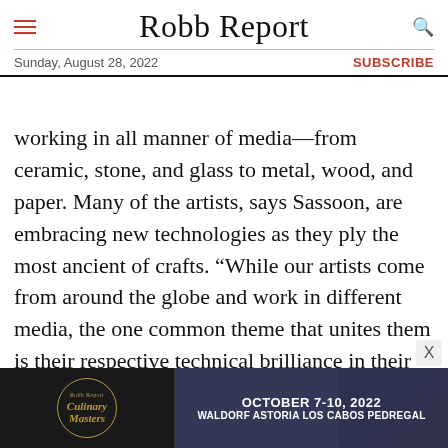Robb Report — Sunday, August 28, 2022 — SUBSCRIBE
working in all manner of media—from ceramic, stone, and glass to metal, wood, and paper. Many of the artists, says Sassoon, are embracing new technologies as they ply the most ancient of crafts. “While our artists come from around the globe and work in different media, the one common theme that unites them is their respective technical brilliance in their field.”
[Figure (screenshot): Advertisement banner for Robb Report Culinary Masters event, October 7-10, 2022, Waldorf Astoria Los Cabos Pedregal]